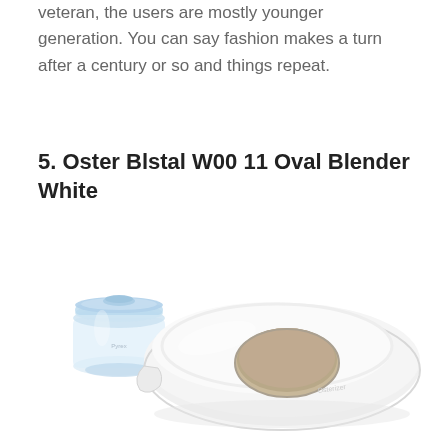veteran, the users are mostly younger generation. You can say fashion makes a turn after a century or so and things repeat.
5. Oster Blstal W00 11 Oval Blender White
[Figure (photo): Product photo showing an Oster Blstal W00 11 Oval Blender White lid — a large white oval donut-shaped blender lid on the right, and a small transparent plastic cup/cap on the left, both on a white background.]